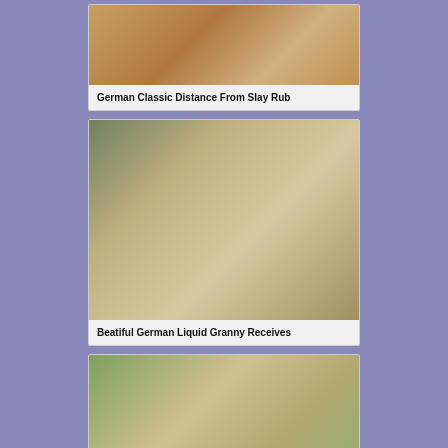[Figure (photo): Thumbnail image for first video card showing figures]
German Classic Distance From Slay Rub
[Figure (photo): Thumbnail image for second video card showing two people on a couch]
Beatiful German Liquid Granny Receives
[Figure (photo): Thumbnail image for third video card showing outdoor scene]